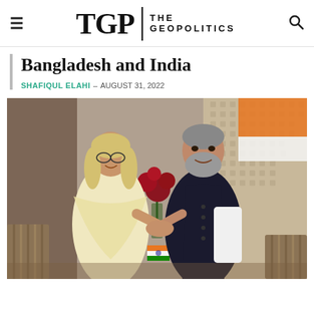TGP | THE GEOPOLITICS
Bangladesh and India
SHAFIQUL ELAHI – AUGUST 31, 2022
[Figure (photo): Photo of two leaders shaking hands — a woman in a light cream dupatta/shawl and a man in a dark vest/Nehru jacket — standing in front of Bangladesh and Indian flags, with red flowers in the background.]